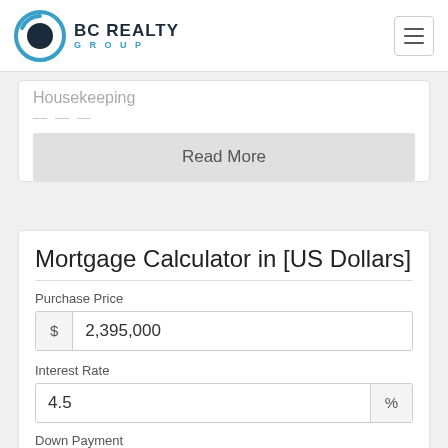[Figure (logo): BC Realty Group logo with circular blue/dark icon and brand name]
Housekeeping
Read More
Mortgage Calculator in [US Dollars]
Purchase Price
$ 2,395,000
Interest Rate
4.5 %
Down Payment